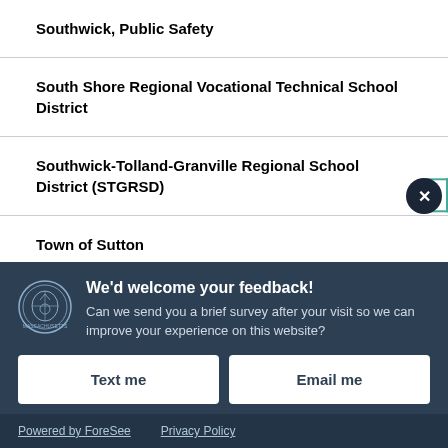Southwick, Public Safety
South Shore Regional Vocational Technical School District
Southwick-Tolland-Granville Regional School District (STGRSD)
Town of Sutton
We'd welcome your feedback! Can we send you a brief survey after your visit so we can improve your experience on this website?
Text me
Email me
Powered by ForeSee   Privacy Policy